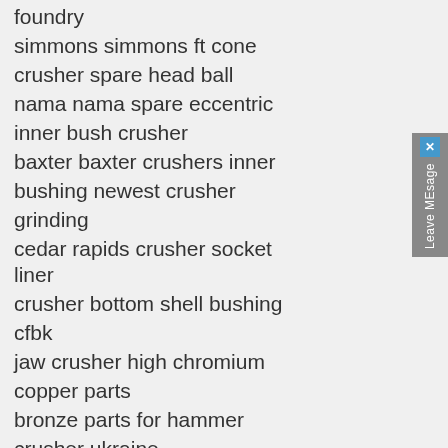foundry
simmons simmons ft cone
crusher spare head ball
nama nama spare eccentric
inner bush crusher
baxter baxter crushers inner
bushing newest crusher
grinding
cedar rapids crusher socket liner
crusher bottom shell bushing
cfbk
jaw crusher high chromium
copper parts
bronze parts for hammer
crusher ukraine
high manganese steel crusher
[Figure (other): Circular up-arrow scroll-to-top button, teal/dark blue outline with upward arrow inside]
Leave MEsage
Get a Quote
Chat Now